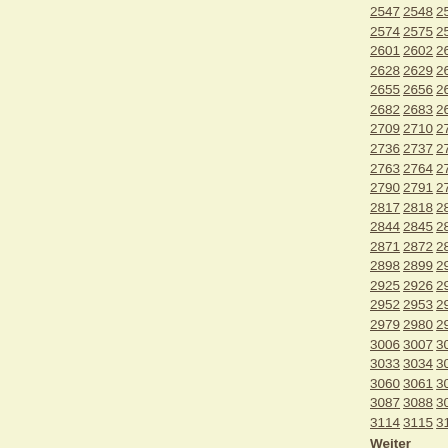2547 2548 2549 2550 2551 2552 2553 2554 2555 ... 2574 2575 2576 2577 2578 2579 2580 2581 2582 ... 2601 2602 2603 2604 2605 2606 2607 2608 2609 ... 2628 2629 2630 2631 2632 2633 2634 2635 2636 ... 2655 2656 2657 2658 2659 2660 2661 2662 2663 ... 2682 2683 2684 2685 2686 2687 2688 2689 2690 ... 2709 2710 2711 2712 2713 2714 2715 2716 2717 ... 2736 2737 2738 2739 2740 2741 2742 2743 2744 ... 2763 2764 2765 2766 2767 2768 2769 2770 2771 ... 2790 2791 2792 2793 2794 2795 2796 2797 2798 ... 2817 2818 2819 2820 2821 2822 2823 2824 2825 ... 2844 2845 2846 2847 2848 2849 2850 2851 2852 ... 2871 2872 2873 2874 2875 2876 2877 2878 2879 ... 2898 2899 2900 2901 2902 2903 2904 2905 2906 ... 2925 2926 2927 2928 2929 2930 2931 2932 2933 ... 2952 2953 2954 2955 2956 2957 2958 2959 2960 ... 2979 2980 2981 2982 2983 2984 2985 2986 2987 ... 3006 3007 3008 3009 3010 3011 3012 3013 3014 ... 3033 3034 3035 3036 3037 3038 3039 3040 3041 ... 3060 3061 3062 3063 3064 3065 3066 3067 3068 ... 3087 3088 3089 3090 3091 3092 3093 3094 3095 ... 3114 3115 3116 3117 3118 3119 3120 3121 3122 ...
Weiter